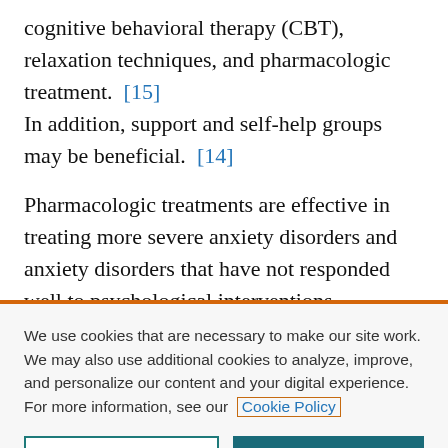cognitive behavioral therapy (CBT), relaxation techniques, and pharmacologic treatment. [15] In addition, support and self-help groups may be beneficial. [14]
Pharmacologic treatments are effective in treating more severe anxiety disorders and anxiety disorders that have not responded well to psychological interventions. Medication
We use cookies that are necessary to make our site work. We may also use additional cookies to analyze, improve, and personalize our content and your digital experience. For more information, see our Cookie Policy